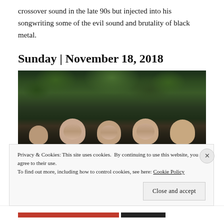crossover sound in the late 90s but injected into his songwriting some of the evil sound and brutality of black metal.
Sunday | November 18, 2018
[Figure (photo): Band photo showing five people partially hidden behind lush tropical foliage, with their faces visible at the bottom of the frame in a dark, moody style.]
Privacy & Cookies: This site uses cookies. By continuing to use this website, you agree to their use.
To find out more, including how to control cookies, see here: Cookie Policy
Close and accept